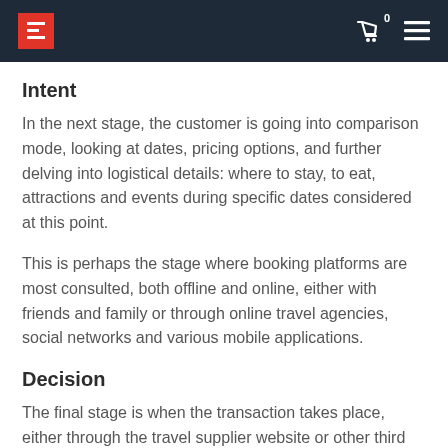Header navigation bar with logo, cart icon, and menu
Intent
In the next stage, the customer is going into comparison mode, looking at dates, pricing options, and further delving into logistical details: where to stay, to eat, attractions and events during specific dates considered at this point.
This is perhaps the stage where booking platforms are most consulted, both offline and online, either with friends and family or through online travel agencies, social networks and various mobile applications.
Decision
The final stage is when the transaction takes place, either through the travel supplier website or other third parties part of the online travel distribution landscape.